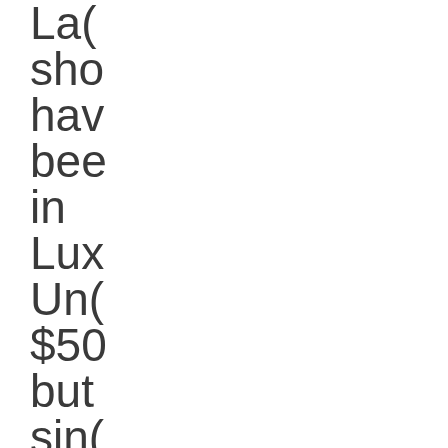Lac sho hav bee in Lux Un $50 but sin the wa: any els to for tha cat it got mo int Far